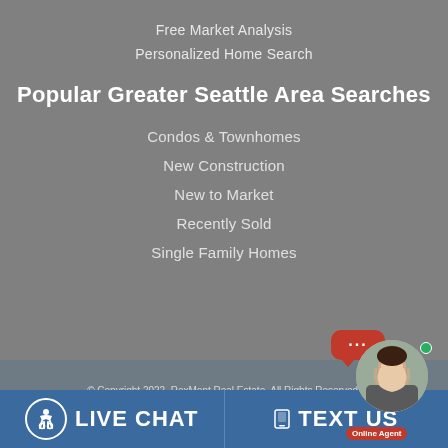Free Market Analysis
Personalized Home Search
Popular Greater Seattle Area Searches
Condos & Townhomes
New Construction
New to Market
Recently Sold
Single Family Homes
© Copyright 2022, RexMont Real Estate. All Rights Reserved. Accessibility | Terms of Service | Privacy Policy | Property Listings | Sitemap Real Estate Websites by Sierra Interactive
LIVE CHAT   TEXT US